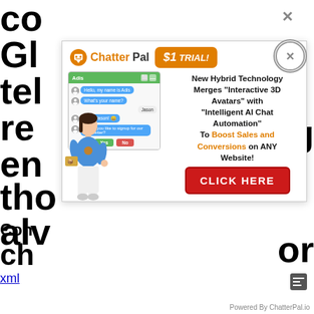co
Gl
tel
re
en
tho
alv
pro
po
co
de
yo
[Figure (advertisement): ChatterPal $1 TRIAL advertisement overlay. Shows ChatterPal logo, a chat interface mockup with a 3D avatar character, and text: 'New Hybrid Technology Merges Interactive 3D Avatars with Intelligent AI Chat Automation To Boost Sales and Conversions on ANY Website!' with a red CLICK HERE button. Has two close (X) buttons.]
Con
xml
Powered By ChatterPal.io